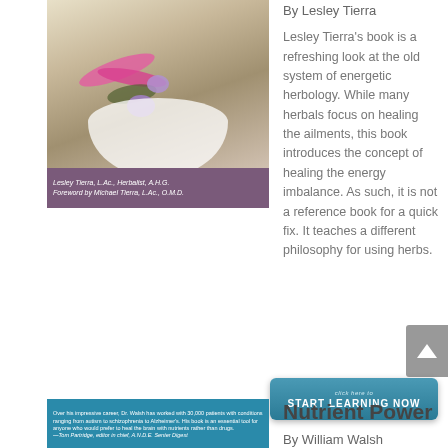[Figure (photo): Book cover image showing a bowl with pink and purple flowers, with author name Lesley Tierra on a purple banner]
By Lesley Tierra
Lesley Tierra's book is a refreshing look at the old system of energetic herbology. While many herbals focus on healing the ailments, this book introduces the concept of healing the energy imbalance. As such, it is not a reference book for a quick fix. It teaches a different philosophy for using herbs.
[Figure (other): START LEARNING NOW button with teal gradient background]
[Figure (photo): Book cover for Nutrient Power showing teal background with white blurb text]
Nutrient Power
By William Walsh